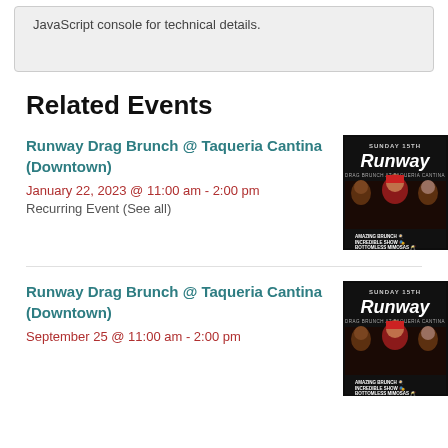JavaScript console for technical details.
Related Events
Runway Drag Brunch @ Taqueria Cantina (Downtown)
January 22, 2023 @ 11:00 am - 2:00 pm
Recurring Event (See all)
[Figure (photo): Runway Drag Brunch at Taqueria Cantina poster showing performers with text SUNDAY 15TH, Runway, Drag Brunch at Taqueria Cantina, Amazing Brunch, Incredible Show, Bottomless Mimosas]
Runway Drag Brunch @ Taqueria Cantina (Downtown)
September 25 @ 11:00 am - 2:00 pm
[Figure (photo): Runway Drag Brunch at Taqueria Cantina poster, similar to first, showing performers with Sunday 15th and Runway branding]